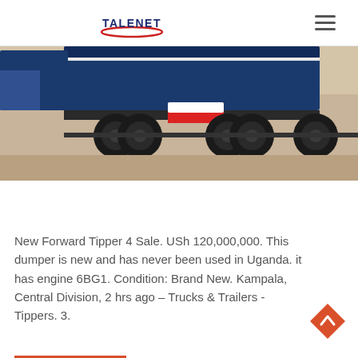TALENET
[Figure (photo): Side view of a blue heavy-duty tipper/dumper truck with multiple rear axles, parked on sandy ground. The truck chassis and wheels are visible, with a red and white marker on the frame.]
New Forward Tipper 4 Sale. USh 120,000,000. This dumper is new and has never been used in Uganda. it has engine 6BG1. Condition: Brand New. Kampala, Central Division, 2 hrs ago – Trucks & Trailers - Tippers. 3.